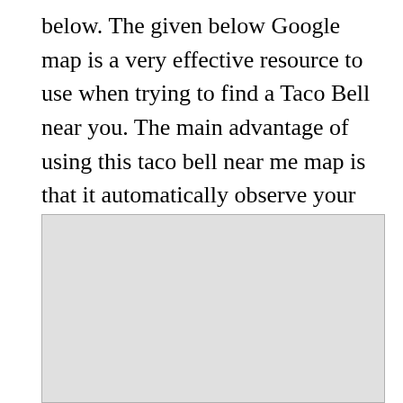below. The given below Google map is a very effective resource to use when trying to find a Taco Bell near you. The main advantage of using this taco bell near me map is that it automatically observe your location and provide the result related to your location.
[Figure (map): A blank/loading Google Map placeholder shown as a light gray rectangle with a border.]